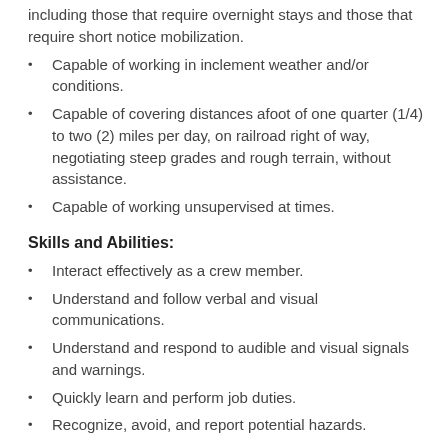including those that require overnight stays and those that require short notice mobilization.
Capable of working in inclement weather and/or conditions.
Capable of covering distances afoot of one quarter (1/4) to two (2) miles per day, on railroad right of way, negotiating steep grades and rough terrain, without assistance.
Capable of working unsupervised at times.
Skills and Abilities:
Interact effectively as a crew member.
Understand and follow verbal and visual communications.
Understand and respond to audible and visual signals and warnings.
Quickly learn and perform job duties.
Recognize, avoid, and report potential hazards.
Company Overview